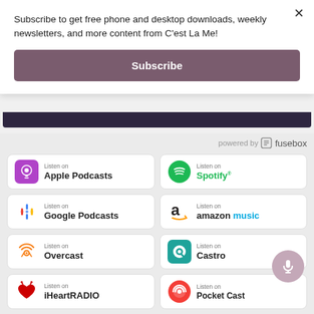Subscribe to get free phone and desktop downloads, weekly newsletters, and more content from C'est La Me!
Subscribe
powered by fusebox
[Figure (other): Listen on Apple Podcasts badge]
[Figure (other): Listen on Spotify badge]
[Figure (other): Listen on Google Podcasts badge]
[Figure (other): Listen on Amazon Music badge]
[Figure (other): Listen on Overcast badge]
[Figure (other): Listen on Castro badge]
[Figure (other): Listen on iHeartRADIO badge]
[Figure (other): Listen on Pocket Casts badge]
[Figure (other): Partial podcast badges row at bottom]